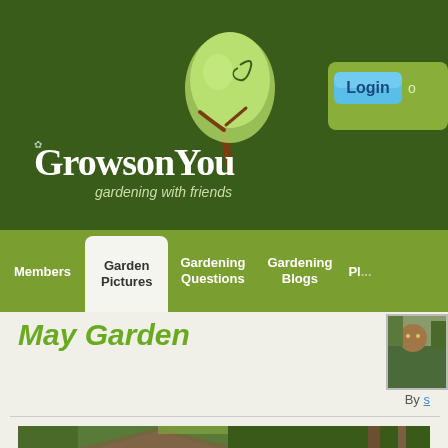[Figure (logo): GrowsonYou gardening with friends logo with green tree illustration on dark green background]
[Figure (screenshot): Login button (blue) with 'or' text on olive green panel in top right]
Members | Garden Pictures | Gardening Questions | Gardening Blogs | Pl...
May Garden
[Figure (photo): Small thumbnail photo of a cat in the top right of the content area]
By [link]
[Figure (photo): Garden photo showing a wooden structure/shed with green foliage in background]